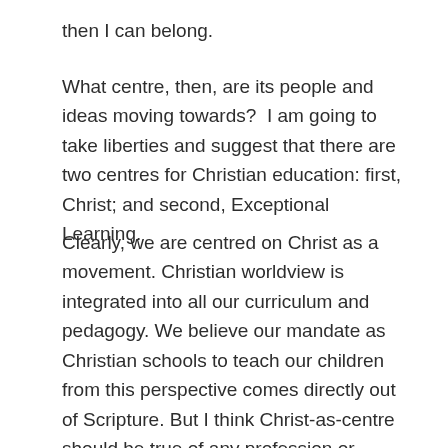then I can belong.
What centre, then, are its people and ideas moving towards?  I am going to take liberties and suggest that there are two centres for Christian education: first, Christ; and second, Exceptional Learning.
Clearly, we are centred on Christ as a movement. Christian worldview is integrated into all our curriculum and pedagogy. We believe our mandate as Christian schools to teach our children from this perspective comes directly out of Scripture. But I think Christ-as-centre should be true of any profession or movement, education, construction, philosophy, ministry, the works. But Learning is distinctive